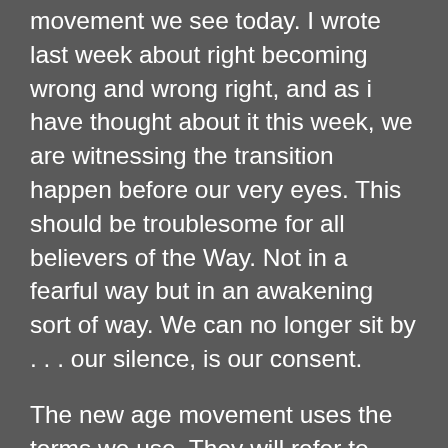movement we see today. I wrote last week about right becoming wrong and wrong right, and as i have thought about it this week, we are witnessing the transition happen before our very eyes. This should be troublesome for all believers of the Way. Not in a fearful way but in an awakening sort of way. We can no longer sit by . . . our silence, is our consent.
The new age movement uses the terms we use. They will refer to light and that we are all stars and light. But their appetite is selfish. It goes back to the garden, and the tree, and satan. “You will not surely die. For God knows that when you eat of it, your eyes will be opened, and you will be like God, knowing good and evil.” “Did God actually say, . . .?” Satan was a lying serpent then, and he is a lying serpent today. Yet, he disguises himself